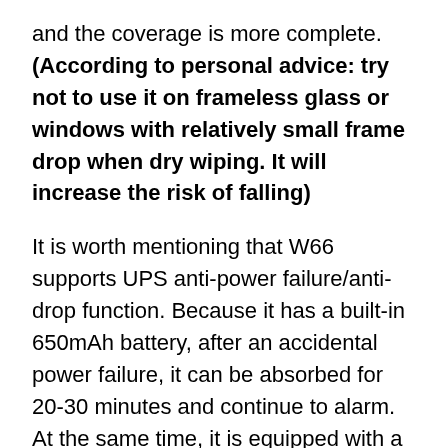and the coverage is more complete. (According to personal advice: try not to use it on frameless glass or windows with relatively small frame drop when dry wiping. It will increase the risk of falling)
It is worth mentioning that W66 supports UPS anti-power failure/anti-drop function. Because it has a built-in 650mAh battery, after an accidental power failure, it can be absorbed for 20-30 minutes and continue to alarm. At the same time, it is equipped with a climbing-level safety rope lock to protect the safety of high-rise window cleaning.
Voice interaction is a function that every smart product should have, and W66 is no exception. It